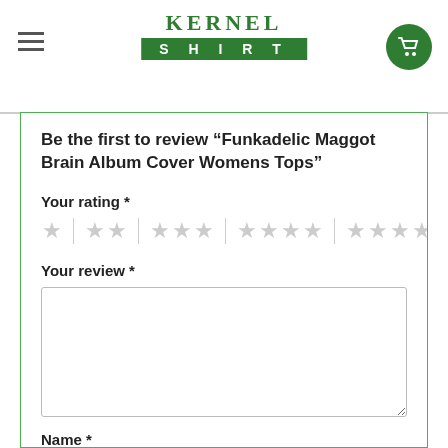Kernel Shirt
Be the first to review “Funkadelic Maggot Brain Album Cover Womens Tops”
Your rating *
Your review *
Name *